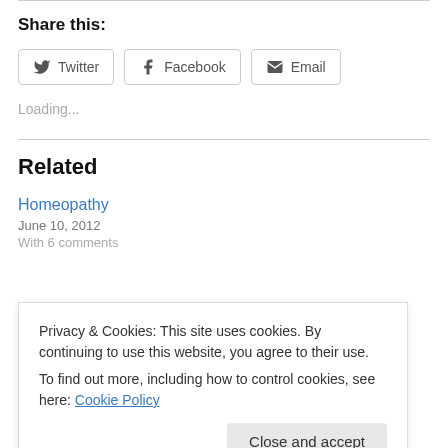Share this:
[Figure (infographic): Social share buttons: Twitter, Facebook, Email]
Loading...
Related
Homeopathy
June 10, 2012
With 6 comments
Privacy & Cookies: This site uses cookies. By continuing to use this website, you agree to their use.
To find out more, including how to control cookies, see here: Cookie Policy
Close and accept